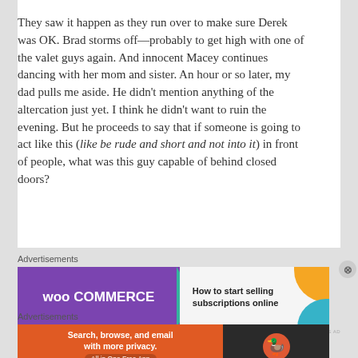They saw it happen as they run over to make sure Derek was OK. Brad storms off—probably to get high with one of the valet guys again. And innocent Macey continues dancing with her mom and sister. An hour or so later, my dad pulls me aside. He didn't mention anything of the altercation just yet. I think he didn't want to ruin the evening. But he proceeds to say that if someone is going to act like this (like be rude and short and not into it) in front of people, what was this guy capable of behind closed doors?
[Figure (other): WooCommerce advertisement banner: 'How to start selling subscriptions online']
[Figure (other): DuckDuckGo advertisement banner: 'Search, browse, and email with more privacy. All in One Free App']